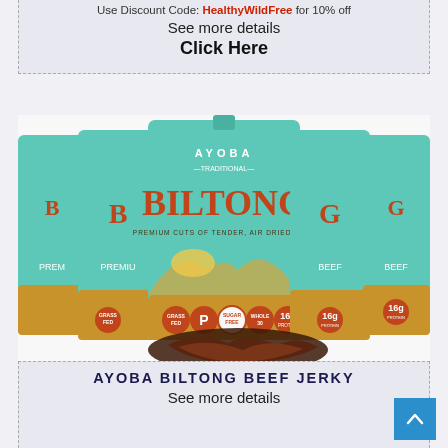Use Discount Code: HealthyWildFree for 10% off
See more details
Click Here
[Figure (photo): Multiple Ayoba Traditional Biltong beef jerky packages (teal and gold packaging) arranged in a fan pattern, with loose dried beef pieces in the foreground. Packages show badges: Grass Fed, Paleo, Sugar Free, Whole30, 16g Protein.]
AYOBA BILTONG BEEF JERKY
See more details